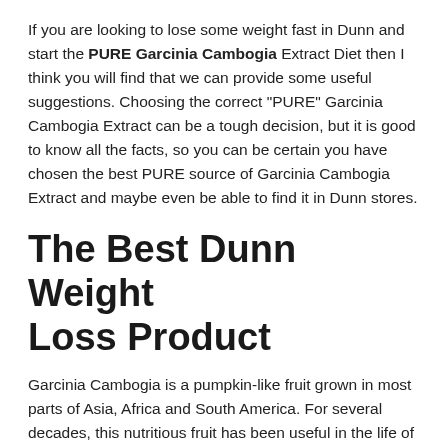If you are looking to lose some weight fast in Dunn and start the PURE Garcinia Cambogia Extract Diet then I think you will find that we can provide some useful suggestions. Choosing the correct "PURE" Garcinia Cambogia Extract can be a tough decision, but it is good to know all the facts, so you can be certain you have chosen the best PURE source of Garcinia Cambogia Extract and maybe even be able to find it in Dunn stores.
The Best Dunn Weight Loss Product
Garcinia Cambogia is a pumpkin-like fruit grown in most parts of Asia, Africa and South America. For several decades, this nutritious fruit has been useful in the life of people who wish to shed some extra fats Fast! Prior to advancements in technology which have made extractions possible, this fruit was used as a spice in the preparation of local dishes because its aroma was said to reduce hunger pang intervals in humans. In some Asian countries such as Malaysia and Indonesia, this fruit was eaten raw for the same purpose. Though the working